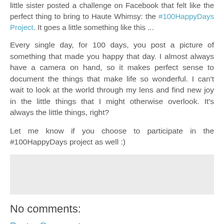little sister posted a challenge on Facebook that felt like the perfect thing to bring to Haute Whimsy: the #100HappyDays Project. It goes a little something like this ...
Every single day, for 100 days, you post a picture of something that made you happy that day. I almost always have a camera on hand, so it makes perfect sense to document the things that make life so wonderful. I can't wait to look at the world through my lens and find new joy in the little things that I might otherwise overlook. It's always the little things, right?
Let me know if you choose to participate in the #100HappyDays project as well :)
[Figure (other): Light grey comment input box area]
No comments:
Post a Comment